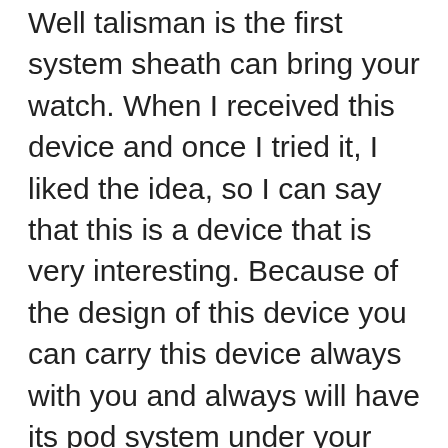Well talisman is the first system sheath can bring your watch. When I received this device and once I tried it, I liked the idea, so I can say that this is a device that is very interesting. Because of the design of this device you can carry this device always with you and always will have its pod system under your supervision, but also because the device is so small that you can not wear a sheath without a leash from the system if desired. On the quality of construction, so far everything looks pretty good, look good color quality also because after a few days of using these devices every day a new color look like a very good deal.
Since this vapeciga nunchaku is a capsule type of watch, let me start with the bracelet, silicone and so far looks good. You can pretty much easy to put in hand and there is no possibility that it might accidentally fall over.